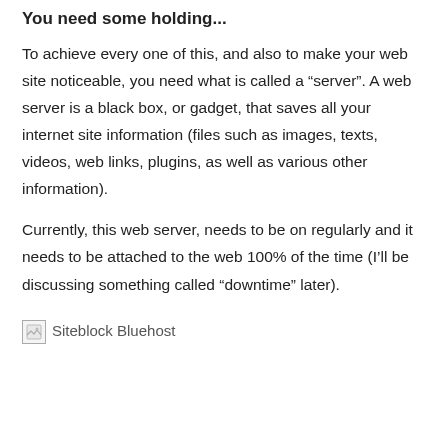You need some holding...
To achieve every one of this, and also to make your web site noticeable, you need what is called a “server”. A web server is a black box, or gadget, that saves all your internet site information (files such as images, texts, videos, web links, plugins, as well as various other information).
Currently, this web server, needs to be on regularly and it needs to be attached to the web 100% of the time (I’ll be discussing something called “downtime” later).
[Figure (photo): Broken image placeholder with alt text: Siteblock Bluehost]